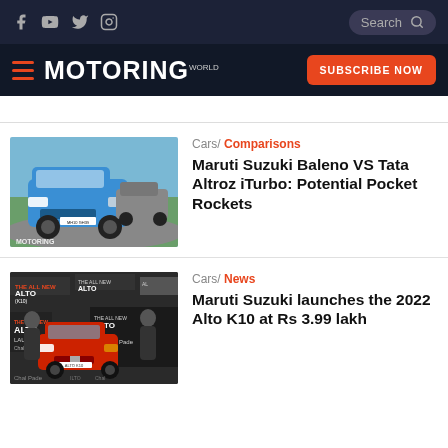Motoring World — top navigation with social icons and search
MOTORING WORLD — SUBSCRIBE NOW
Cars/ Comparisons — Maruti Suzuki Baleno VS Tata Altroz iTurbo: Potential Pocket Rockets
Cars/ News — Maruti Suzuki launches the 2022 Alto K10 at Rs 3.99 lakh